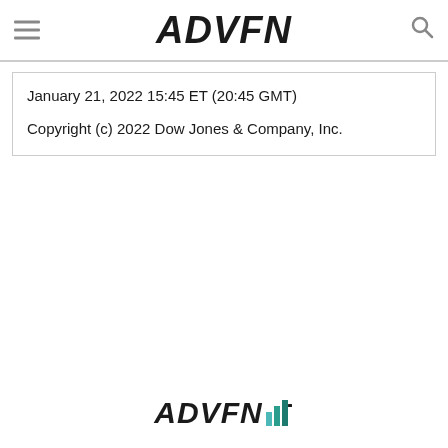ADVFN
January 21, 2022 15:45 ET (20:45 GMT)
Copyright (c) 2022 Dow Jones & Company, Inc.
[Figure (logo): ADVFN logo with colored bars at bottom of page]